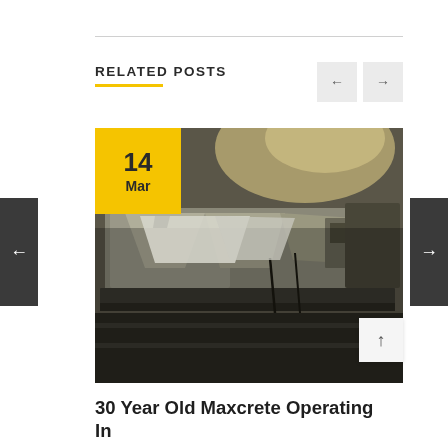RELATED POSTS
[Figure (photo): Industrial machinery photo showing a 30-year-old Maxcrete machine operating in what appears to be a mining or tunneling environment. The image shows large metallic equipment with conveyor components.]
30 Year Old Maxcrete Operating In